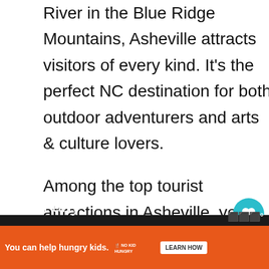River in the Blue Ridge Mountains, Asheville attracts visitors of every kind. It's the perfect NC destination for both outdoor adventurers and arts & culture lovers.
Among the top tourist attractions in Asheville, you'll find baronial manors, Art Deco buildings, leafy hiking trails, and cool art galleries & art studios. And let's not forget the craft beer. In fact, Asheville has
[Figure (other): Social sidebar with heart/like button showing count of 9, and share button]
[Figure (other): What's Next widget showing 'The 17+ BEST Things to D...' with thumbnail image]
f any.
[Figure (other): Advertisement banner: 'You can help hungry kids.' with No Kid Hungry logo and Learn How button. Orange background. Close X button.]